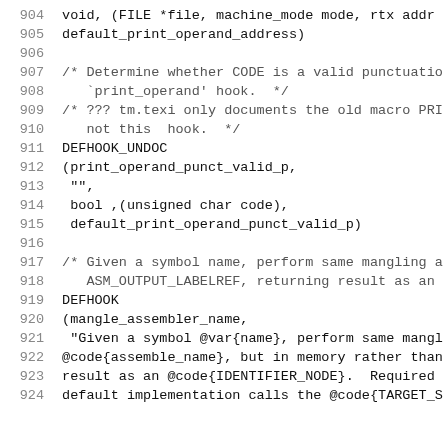Source code listing, lines 904-924, showing C macro definitions for GCC target hooks including DEFHOOK_UNDOC for print_operand_punct_valid_p and DEFHOOK for mangle_assembler_name.